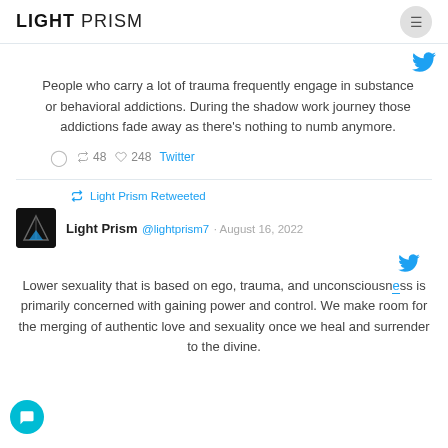LIGHT PRISM
People who carry a lot of trauma frequently engage in substance or behavioral addictions. During the shadow work journey those addictions fade away as there's nothing to numb anymore.
48 retweets 248 likes Twitter
Light Prism Retweeted
Light Prism @lightprism7 · August 16, 2022
Lower sexuality that is based on ego, trauma, and unconsciousness is primarily concerned with gaining power and control. We make room for the merging of authentic love and sexuality once we heal and surrender to the divine.